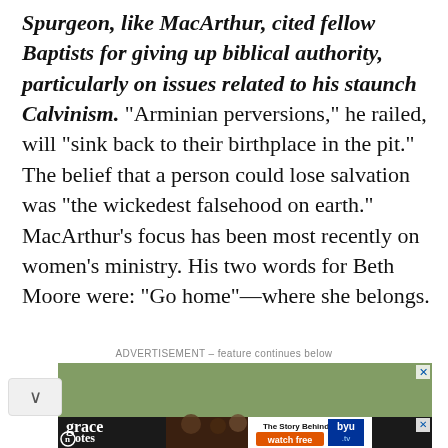Spurgeon, like MacArthur, cited fellow Baptists for giving up biblical authority, particularly on issues related to his staunch Calvinism. “Arminian perversions,” he railed, will “sink back to their birthplace in the pit.” The belief that a person could lose salvation was “the wickedest falsehood on earth.” MacArthur’s focus has been most recently on women’s ministry. His two words for Beth Moore were: “Go home”—where she belongs.
ADVERTISEMENT – feature continues below
[Figure (screenshot): Advertisement banner: Grace Notes TV show ad with 'The Story Behind the Music - watch free' on BYU TV, showing people in graduation caps and musicians]